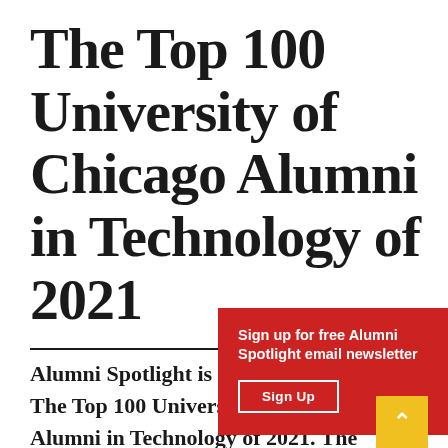The Top 100 University of Chicago Alumni in Technology of 2021
Alumni Spotlight is pleased to announce The Top 100 University of Chicago Alumni in Technology of 2021. The University of Chicago, globally recognized for its strength in intellectual traditions, devotion to rigorous and open inquiry and strong critical analysis, was
[Figure (other): Red popup overlay with text 'Sign up for free Alumni Spotlight email newsletter' and a 'Sign Up' button]